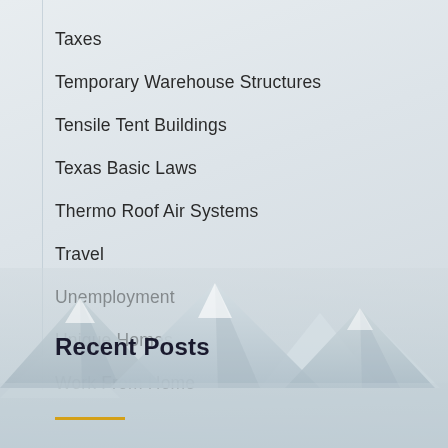Taxes
Temporary Warehouse Structures
Tensile Tent Buildings
Texas Basic Laws
Thermo Roof Air Systems
Travel
Unemployment
Unique Homes
Work From Home
[Figure (illustration): Mountain peaks silhouette background image at the bottom of the page, light gray/white tones]
Recent Posts